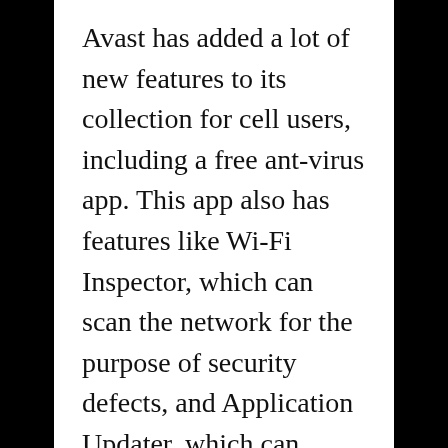Avast has added a lot of new features to its collection for cell users, including a free ant-virus app. This app also has features like Wi-Fi Inspector, which can scan the network for the purpose of security defects, and Application Updater, which can detect missing security pads. In addition to antivirus scanning services, the software also incorporates a bootable relief disk and a password manager just for rooted gadgets. For the price tag on just